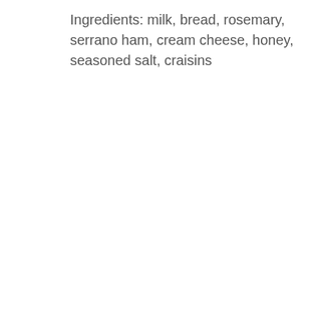Ingredients: milk, bread, rosemary, serrano ham, cream cheese, honey, seasoned salt, craisins